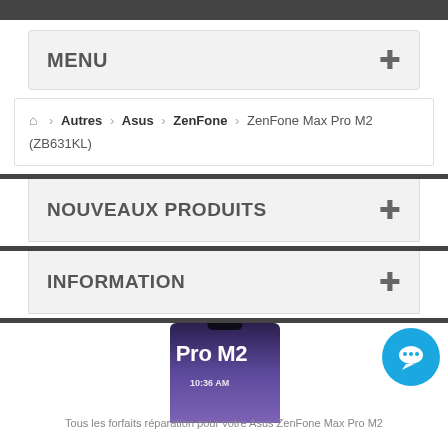MENU +
🏠 > Autres > Asus > ZenFone > ZenFone Max Pro M2 (ZB631KL)
NOUVEAUX PRODUITS +
INFORMATION +
[Figure (screenshot): Asus ZenFone Max Pro M2 phone image with overlay text and chat bubble icon]
Tous les forfaits réparation pour votre Asus ZenFone Max Pro M2